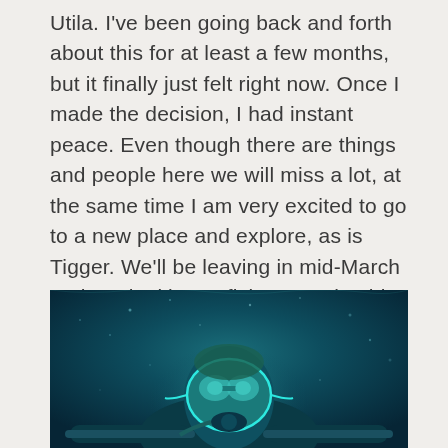Utila.  I've been going back and forth about this for at least a few months, but it finally just felt right now.  Once I made the decision, I had instant peace.  Even though there are things and people here we will miss a lot, at the same time I am very excited to go to a new place and explore, as is Tigger.   We'll be leaving in mid-March and are looking at flying to Colombia with a plan to be in Peru for the winter solstice at Machu Picchu.
[Figure (photo): Underwater photo of a scuba diver wearing a diving mask and equipment, taken from close range. The water is deep blue-green with light particles visible. The diver appears to be holding onto something and looking at the camera.]